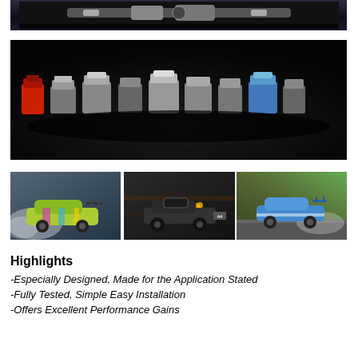[Figure (photo): Top portion of a dark automotive engine bay photo, partially visible at top of page]
[Figure (photo): Dark background photo showing a row of various car engines arranged to spell out or display a collection, photographed in low light]
[Figure (photo): Triptych of three racing/drifting car photos side by side: colorful drift car with smoke on left, dark race car in center, blue Subaru drift car on right]
Highlights
-Especially Designed, Made for the Application Stated
-Fully Tested, Simple Easy Installation
-Offers Excellent Performance Gains